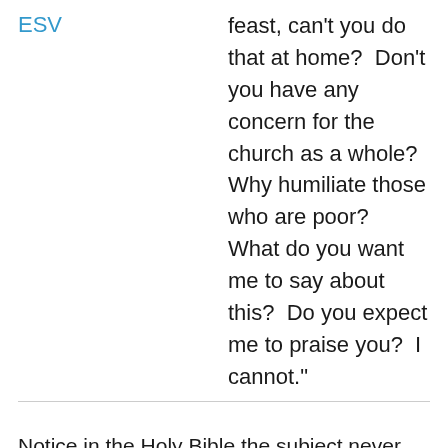ESV
feast, can't you do that at home?  Don't you have any concern for the church as a whole?  Why humiliate those who are poor?  What do you want me to say about this?  Do you expect me to praise you?  I cannot."
Notice in the Holy Bible the subject never leaves communion.  The Clear Word adds in this potluck dynamic that is foreign to the text to misdirect the logical conclusion that people were getting drunk on Communion Wine!